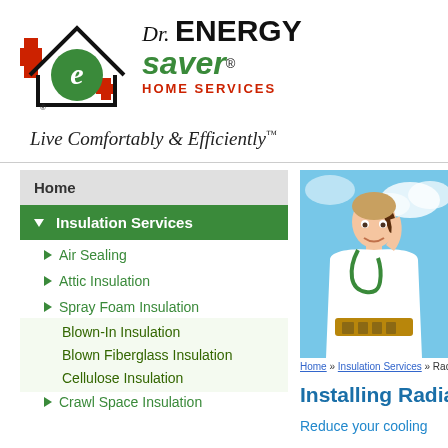[Figure (logo): Dr. Energy Saver Home Services logo with house icon and tagline 'Live Comfortably & Efficiently']
Home
▼ Insulation Services
▶ Air Sealing
▶ Attic Insulation
▶ Spray Foam Insulation
Blown-In Insulation
Blown Fiberglass Insulation
Cellulose Insulation
▶ Crawl Space Insulation
[Figure (photo): Man in white lab coat (doctor) holding tools against blue sky background]
Home » Insulation Services » Radiant
Installing Radia
Reduce your cooling